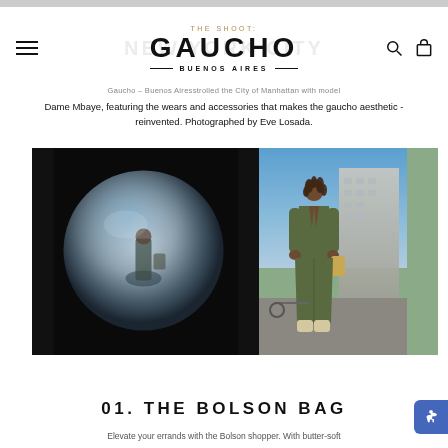THE SHOOT: GAUCHO — BUENOS AIRES — NEW YORK CITY
Gaucho – Buenos Aires strolled the City of Manhattan with model Dame Mbaye, featuring the wears and accessories that makes the gaucho aesthetic - reinvented. Photographed by Eve Losada.
[Figure (photo): Left: fisheye lens photo of model in black background globe effect. Right: outdoor NYC street photo of male model in olive green suit holding bag.]
01. THE BOLSON BAG
Elevate your errands with the Bolson shopper. With butter-soft